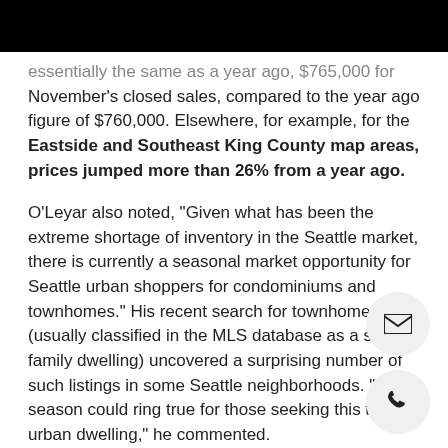essentially the same as a year ago, $765,000 for November's closed sales, compared to the year ago figure of $760,000. Elsewhere, for example, for the Eastside and Southeast King County map areas, prices jumped more than 26% from a year ago.
O'Leyar also noted, "Given what has been the extreme shortage of inventory in the Seattle market, there is currently a seasonal market opportunity for Seattle urban shoppers for condominiums and townhomes." His recent search for townhomes (usually classified in the MLS database as a single family dwelling) uncovered a surprising number of such listings in some Seattle neighborhoods. "The season could ring true for those seeking this type of urban dwelling," he commented.